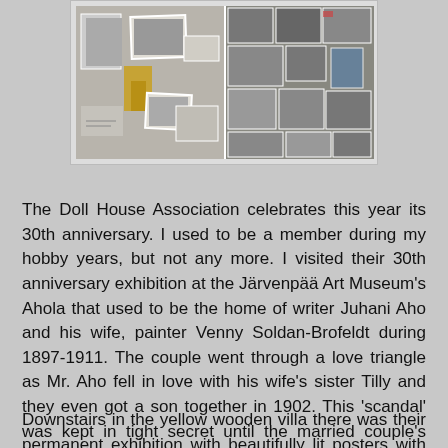[Figure (photo): A collage of black and white photographs and sketches displayed on a board, split into two halves. The left side shows drawings and photos including a figure in yellow, and various architectural or landscape images. The right side shows a dense collage of black and white photographs of people and scenes.]
The Doll House Association celebrates this year its 30th anniversary. I used to be a member during my hobby years, but not any more. I visited their 30th anniversary exhibition at the Järvenpää Art Museum's Ahola that used to be the home of writer Juhani Aho and his wife, painter Venny Soldan-Brofeldt during 1897-1911. The couple went through a love triangle as Mr. Aho fell in love with his wife's sister Tilly and they even got a son together in 1902. This 'scandal' was kept in tight secret until the married couple's younger son Antti wrote his father's biography in 1951.
Downstairs in the yellow wooden villa there was their permanent exhibition with beautifully lit posters with Venny's art, sketches and family photos. And the whole upstairs was